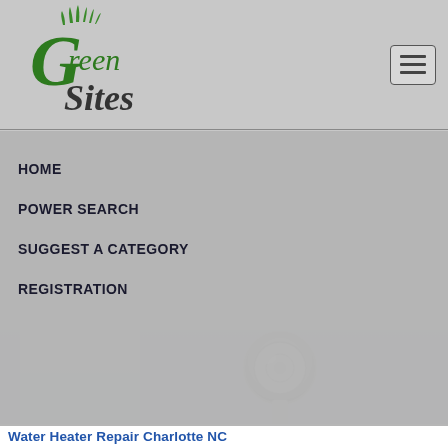[Figure (logo): Green Sites logo with stylized green grass and cursive green lettering]
HOME
POWER SEARCH
SUGGEST A CATEGORY
REGISTRATION
[Figure (photo): Close-up photo of water heater or plumbing fixture, silver/chrome metallic element on light background]
Water Heater Repair Charlotte NC